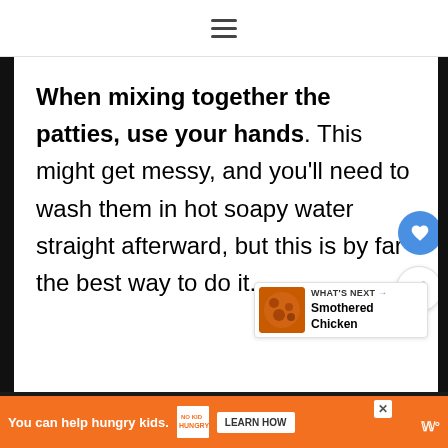☰ (hamburger menu icon)
When mixing together the patties, use your hands. This might get messy, and you'll need to wash them in hot soapy water straight afterward, but this is by far the best way to do it.
You can help hungry kids. NO KID HUNGRY LEARN HOW